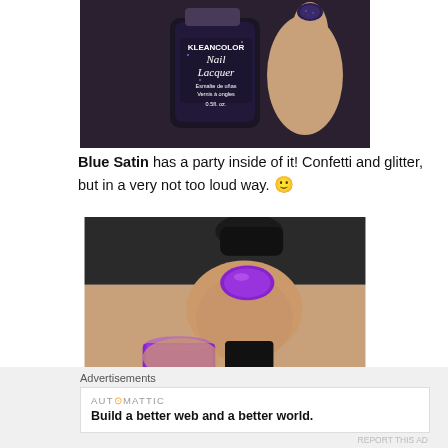[Figure (photo): A hand holding a dark navy/purple glitter KleanColor Nail Lacquer bottle. The label reads: KLEANCOLOR, Nail Lacquer, Esmalte de uñas, Vernis à ongles, 0.5fl. oz. Nails painted dark navy/purple with glitter.]
Blue Satin has a party inside of it! Confetti and glitter, but in a very not too loud way. 🙂
[Figure (photo): Close-up of a hand holding a black nail polish bottle. The thumbnail nail is painted bright purple/violet.]
Advertisements
AUT⊙MATTIC
Build a better web and a better world.
REPORT THIS AD